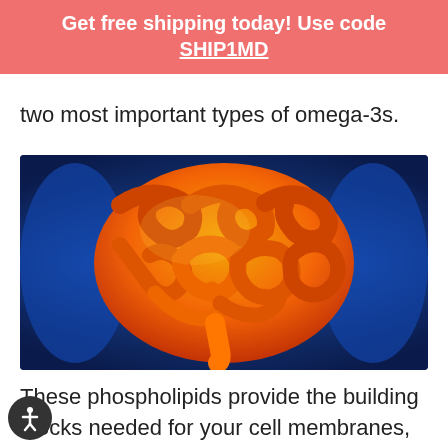Get free shipping today! Use code SHIP1MD
two most important types of omega-3s.
[Figure (illustration): Medical illustration of the human intestines/colon shown in orange/red tones against a blue glowing body silhouette background.]
These phospholipids provide the building blocks needed for your cell membranes, and they regulate cellular transport in your body